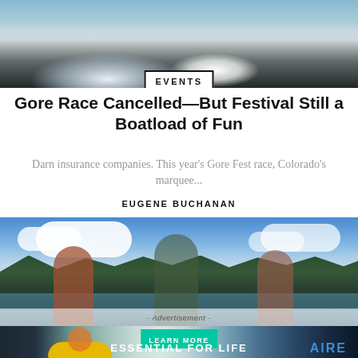[Figure (photo): Whitewater rapids with rocks and white foam at the top of the page]
EVENTS
Gore Race Cancelled—But Festival Still a Boatload of Fun
Darn insurance companies. This year's Gore Fest race, Colorado's marquee...
EUGENE BUCHANAN
[Figure (photo): Three women paddleboarding on a lake with pine trees and mountains in the background on a sunny day]
[Figure (photo): Advertisement banner showing kayakers in whitewater rapids with LEARN MORE button, ESSENTIAL FOR LIFE text, and AIRE logo]